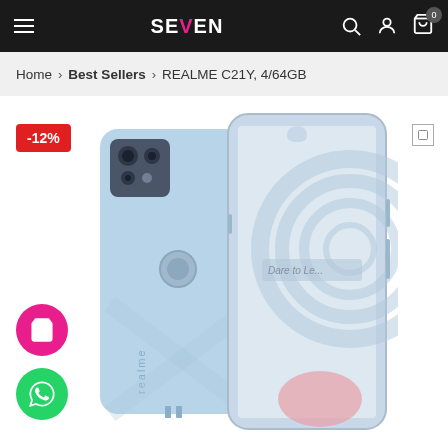SEVEN — navigation bar with hamburger menu, logo, search, account, and cart icons
Home > Best Sellers > REALME C21Y, 4/64GB
[Figure (photo): Realme C21Y smartphone shown from back and front angles. Light blue color with square camera module on back and teardrop notch display showing 'Dare to Le...' text on screen. Discount badge '-12%' in red top-left. Pink floating cart button and green WhatsApp button on the left side.]